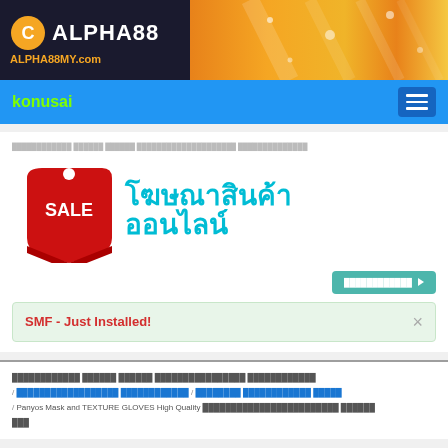[Figure (logo): Alpha88 logo with orange banner header. Logo shows circular 'C' icon beside ALPHA88 text in white on dark background, with ALPHA88MY.com subtitle in orange. Right side is decorative orange gradient.]
konusai (navigation menu title) with hamburger menu icon
[Figure (illustration): Promotional banner with a red SALE price tag on the left and Thai text reading 'โฆษณาสินค้า ออนไลน์' (Online Product Advertising) in cyan on the right]
SMF - Just Installed!
Panyos Mask and TEXTURE GLOVES High Quality (Thai text) breadcrumb navigation